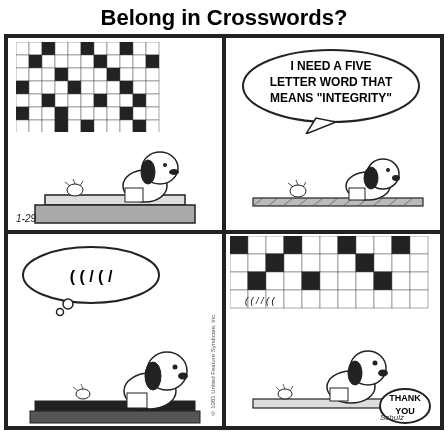Belong in Crosswords?
[Figure (illustration): Peanuts comic strip, 4 panels. Panel 1: Snoopy sits on his doghouse working on a crossword puzzle, Woodstock nearby, date 1-29. Panel 2: Speech bubble says 'I NEED A FIVE LETTER WORD THAT MEANS "INTEGRITY"', Snoopy and Woodstock. Panel 3: Thought bubble with scratching sounds '( ( / ( /', Snoopy thinking. Panel 4: Crossword puzzle shown, Woodstock holds a 'THANK YOU' speech bubble, Snoopy writing.]